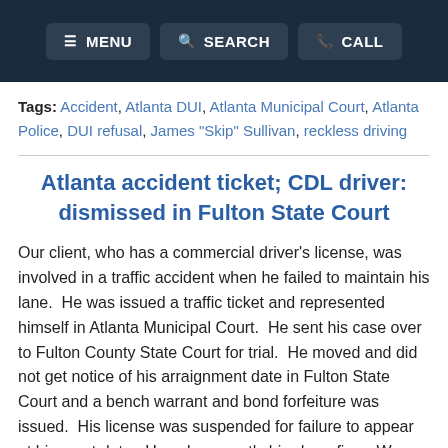MENU  SEARCH  CALL
Tags: Accident, Atlanta DUI, Atlanta Municipal Court, Atlanta Police, DUI refusal, James "Skip" Sullivan, reckless driving
Atlanta accident ticket; CDL driver: dismissed in Fulton State Court
Our client, who has a commercial driver's license, was involved in a traffic accident when he failed to maintain his lane.  He was issued a traffic ticket and represented himself in Atlanta Municipal Court.  He sent his case over to Fulton County State Court for trial.  He moved and did not get notice of his arraignment date in Fulton State Court and a bench warrant and bond forfeiture was issued.  His license was suspended for failure to appear at his court date.  He subsequently hired our firm.  We quickly got his case out of bench warrant/bond forfeiture status and